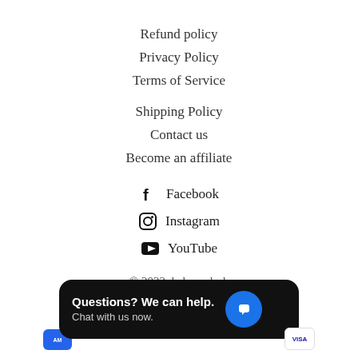Refund policy
Privacy Policy
Terms of Service
Shipping Policy
Contact us
Become an affiliate
Facebook
Instagram
YouTube
© 2022, kaboondesk
[Figure (screenshot): Chat popup widget with text 'Questions? We can help. Chat with us now.' and a blue chat bubble icon on dark background. Payment card icons (American Express, Visa) partially visible on sides.]